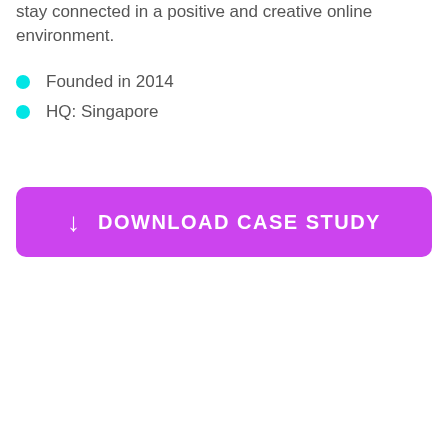stay connected in a positive and creative online environment.
Founded in 2014
HQ: Singapore
[Figure (other): Purple download button with downward arrow icon and text 'DOWNLOAD CASE STUDY']